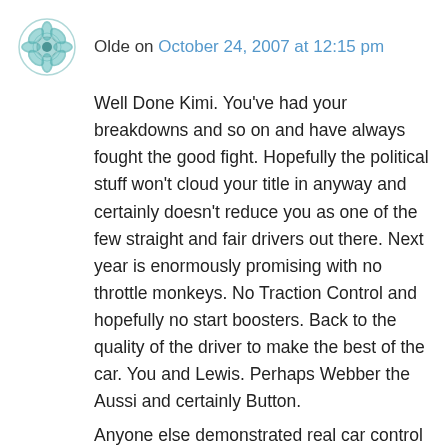Olde on October 24, 2007 at 12:15 pm
Well Done Kimi. You've had your breakdowns and so on and have always fought the good fight. Hopefully the political stuff won't cloud your title in anyway and certainly doesn't reduce you as one of the few straight and fair drivers out there. Next year is enormously promising with no throttle monkeys. No Traction Control and hopefully no start boosters. Back to the quality of the driver to make the best of the car. You and Lewis. Perhaps Webber the Aussi and certainly Button.
Anyone else demonstrated real car control this year or consistency? It will be a good season, I wish this one hadn't been so damaged by